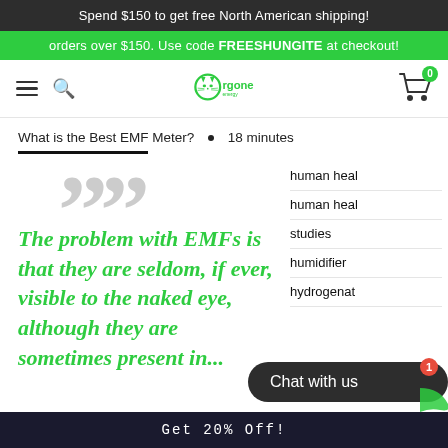Spend $150 to get free North American shipping!
orders over $150. Use code FREESHUNGITE at checkout!
[Figure (logo): Orgone Energy logo with stylized O and cat face icon]
What is the Best EMF Meter? • 18 minutes
The problem with EMFs is that they are seldom, if ever, visible to the naked eye, although they are sometimes present in…
human heal
human heal
studies
humidifier
hydrogenat
Chat with us
Get 20% Off!